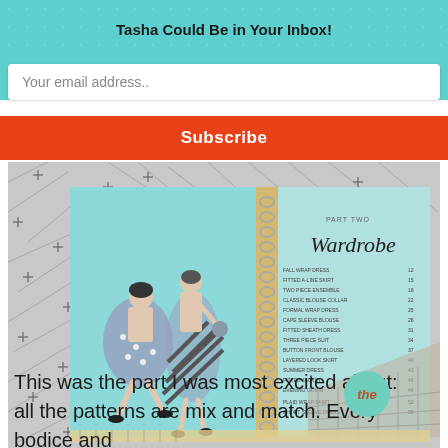Tasha Could Be in Your Inbox!
Your email address..
Subscribe
[Figure (photo): Open spiral-bound book showing Part Two: Wardrobe section with vintage 1950s fashion illustrations of women in polka dot and plaid dresses on a teal/light blue background, placed on a black and white atomic print fabric]
This was the part I was most excited about: all the patterns are mix and match. Every bodice and